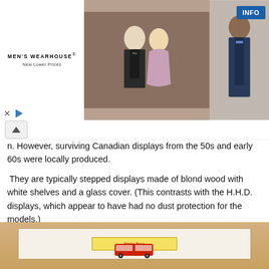[Figure (photo): Men's Wearhouse advertisement banner showing a couple in formal attire and a man in a navy suit, with INFO button]
n. However, surviving Canadian displays from the 50s and early 60s were locally produced.
They are typically stepped displays made of blond wood with white shelves and a glass cover. (This contrasts with the H.H.D. displays, which appear to have had no dust protection for the models.)
These displays were offered in the “single-width” version I show first, as well as a massive “double-width” version and another version with integral drawers below. They all feature signage that looks as if it was painted by hand, a centered Dinky Toys logo at the bottom, and the indent at the top allowing for the glass to be pried up with a finger.
[Figure (photo): Photo of a Dinky Toys display case with wooden frame, showing toy vehicles on a shelf with a sign]